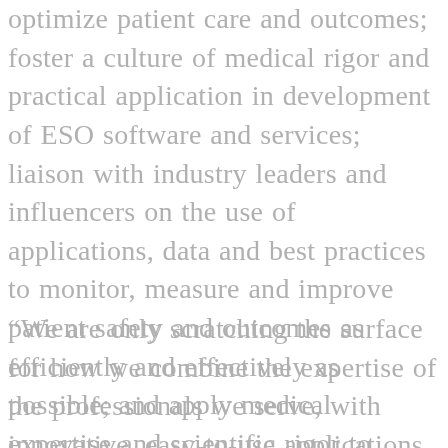optimize patient care and outcomes; foster a culture of medical rigor and practical application in development of ESO software and services; liaison with industry leaders and influencers on the use of applications, data and best practices to monitor, measure and improve patient safety and outcomes as efficiently and effectively as possible; and apply medical expertise and scientific rigor to support customers through the constantly evolving journey of balancing compliance, security, ease-of-use, and automation in the use of data to meet the emergency medical needs of today and be prepared for healthcare needs of the future.
“We are only scratching the surface for how we combine the expertise of the professionals we serve, with innovative, easy-to-use applications that provide actionable data and analytics to make real-time decisions that save lives, care more effectively for patients, and do